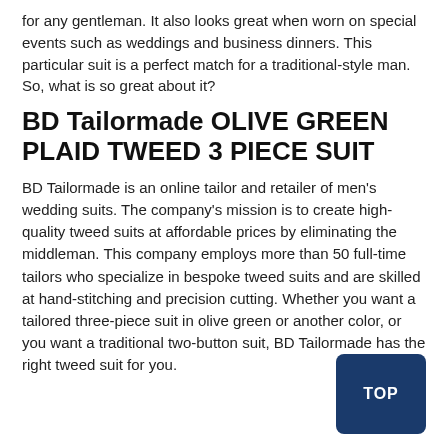for any gentleman. It also looks great when worn on special events such as weddings and business dinners. This particular suit is a perfect match for a traditional-style man. So, what is so great about it?
BD Tailormade OLIVE GREEN PLAID TWEED 3 PIECE SUIT
BD Tailormade is an online tailor and retailer of men's wedding suits. The company's mission is to create high-quality tweed suits at affordable prices by eliminating the middleman. This company employs more than 50 full-time tailors who specialize in bespoke tweed suits and are skilled at hand-stitching and precision cutting. Whether you want a tailored three-piece suit in olive green or another color, or you want a traditional two-button suit, BD Tailormade has the right tweed suit for you.